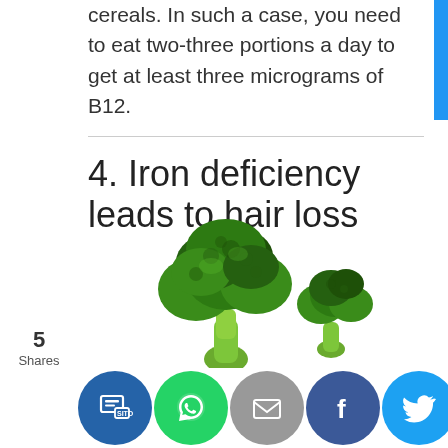cereals. In such a case, you need to eat two-three portions a day to get at least three micrograms of B12.
4. Iron deficiency leads to hair loss
[Figure (photo): Two heads of fresh green broccoli on a white background]
5 Shares
[Figure (infographic): Social sharing icon bar with buttons for Sito, WhatsApp, Email, Facebook, Twitter, and a crown/bookmark icon]